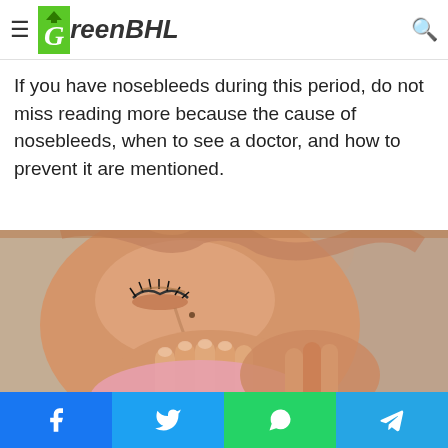GreenBHL – navigation bar with hamburger menu and search icon
system can lead to nosebleeds, also called
If you have nosebleeds during this period, do not miss reading more because the cause of nosebleeds, when to see a doctor, and how to prevent it are mentioned.
[Figure (photo): Close-up photo of a person with closed eyes pressing their hands and a pink tissue against their nose, appearing to have a nosebleed or blowing their nose.]
Social share buttons: Facebook, Twitter, WhatsApp, Telegram